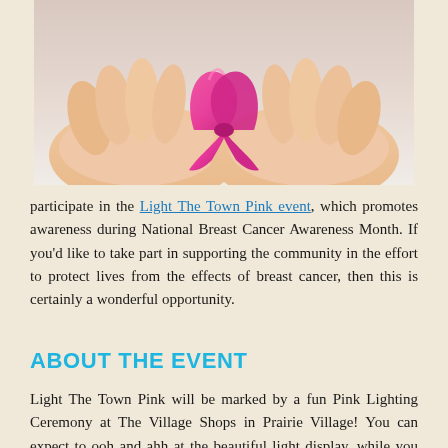[Figure (photo): Two open hands cupping a pink breast cancer awareness ribbon against a light background.]
participate in the Light The Town Pink event, which promotes awareness during National Breast Cancer Awareness Month. If you'd like to take part in supporting the community in the effort to protect lives from the effects of breast cancer, then this is certainly a wonderful opportunity.
ABOUT THE EVENT
Light The Town Pink will be marked by a fun Pink Lighting Ceremony at The Village Shops in Prairie Village! You can expect to ooh and ahh at the beautiful light display, while you enjoy live